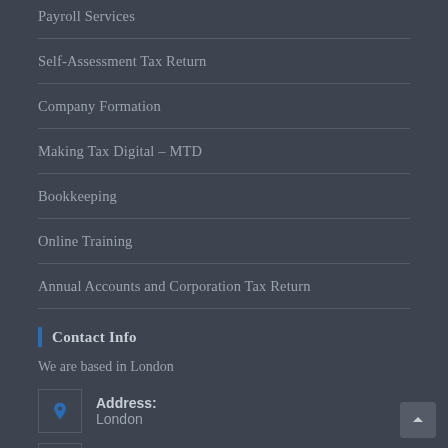Payroll Services
Self-Assessment Tax Return
Company Formation
Making Tax Digital – MTD
Bookkeeping
Online Training
Annual Accounts and Corporation Tax Return
Contact Info
We are based in London
Address: London
Phone: +442082008190